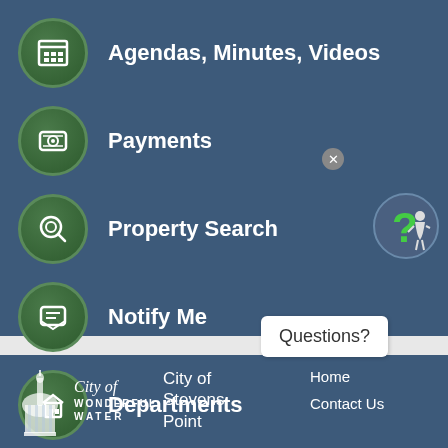Agendas, Minutes, Videos
Payments
Property Search
Notify Me
Departments
[Figure (illustration): Questions? chat bubble popup with close button and help character icon (green question mark with figure)]
[Figure (logo): City of Stevens Point logo - dome building silhouette with City of Wonderful Water text]
City of Stevens Point
Home
Contact Us